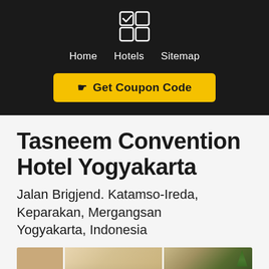[Figure (logo): App logo icon - 2x2 grid of squares with top-left square checked (checkbox with checkmark)]
Home   Hotels   Sitemap
☛ Get Coupon Code
Tasneem Convention Hotel Yogyakarta
Jalan Brigjend. Katamso-Ireda, Keparakan, Mergangsan Yogyakarta, Indonesia
[Figure (photo): Hotel exterior photo strip showing building facade with beige/tan walls and palm tree on right side]